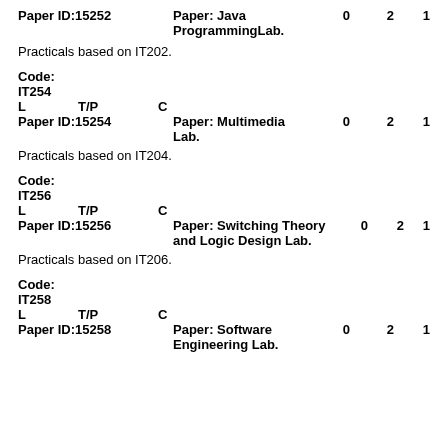Paper ID:15252    Paper: Java ProgrammingLab.    0    2    1
Practicals based on IT202.
Code: IT254
L    T/P    C
Paper ID:15254    Paper: Multimedia Lab.    0    2    1
Practicals based on IT204.
Code: IT256
L    T/P    C
Paper ID:15256    Paper: Switching Theory and Logic Design Lab.    0    2    1
Practicals based on IT206.
Code: IT258
L    T/P    C
Paper ID:15258    Paper: Software Engineering Lab.    0    2    1